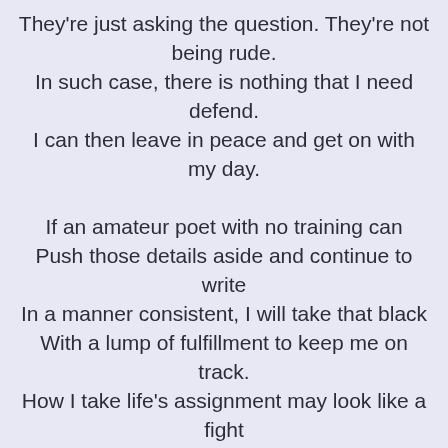They're just asking the question. They're not being rude.
In such case, there is nothing that I need defend.
I can then leave in peace and get on with my day.

If an amateur poet with no training can
Push those details aside and continue to write
In a manner consistent, I will take that black
With a lump of fulfillment to keep me on track.
How I take life's assignment may look like a fight
Yet it seems to fit into someone's divine plan.